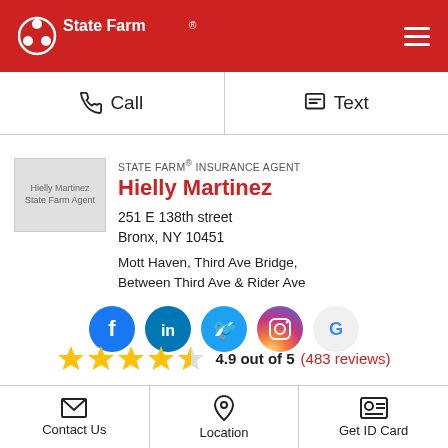[Figure (logo): State Farm logo in white on red header background]
Call
Text
[Figure (photo): Hielly Martinez State Farm Agent profile photo placeholder]
STATE FARM® INSURANCE AGENT
Hielly Martinez
251 E 138th street
Bronx, NY 10451
Mott Haven, Third Ave Bridge, Between Third Ave & Rider Ave
[Figure (infographic): Social media icons: Facebook, LinkedIn, Twitter, Instagram, Google]
4.9 out of 5  (483 reviews)
Contact Us
Location
Get ID Card